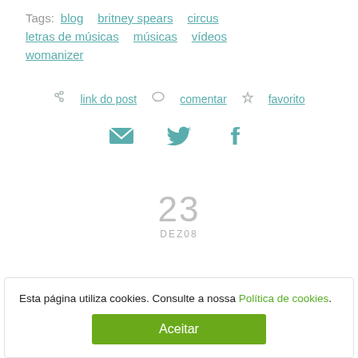Tags: blog  britney spears  circus  letras de músicas  músicas  vídeos  womanizer
link do post  comentar  favorito
[Figure (infographic): Social sharing icons: envelope (email), Twitter bird, Facebook f]
23 DEZ08
Esta página utiliza cookies. Consulte a nossa Política de cookies.
Aceitar